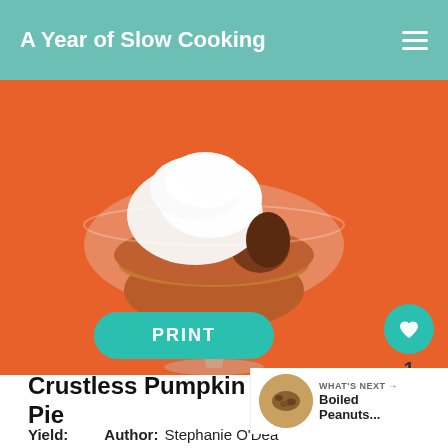A Year of Slow Cooking
[Figure (photo): A glass dessert cup/martini glass filled with pumpkin pie filling topped with whipped cream, set against an orange background]
PRINT
Crustless Pumpkin Pie
WHAT'S NEXT → Boiled Peanuts...
Yield:   Author: Stephanie O'Dea